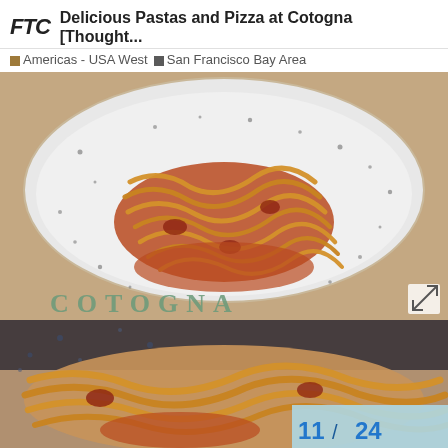FTC  Delicious Pastas and Pizza at Cotogna [Thought...
Americas - USA West  San Francisco Bay Area
[Figure (photo): A white speckled ceramic bowl containing fettuccine pasta in a tomato meat sauce, placed on a wooden surface with 'COTOGNA' text visible at the bottom. An expand/fullscreen icon is visible in the bottom right corner.]
[Figure (photo): Close-up partial view of fettuccine pasta in tomato meat sauce, similar to the first image. A page counter showing '11 / 24' is overlaid in the bottom right in blue text on a light blue background.]